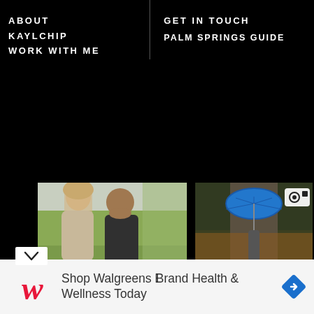ABOUT KAYLCHIP | WORK WITH ME | GET IN TOUCH | PALM SPRINGS GUIDE
[Figure (photo): Couple leaning close together outdoors on grass, woman with blonde hair, man in dark t-shirt]
[Figure (photo): Person walking on a path in the rain holding a blue umbrella, trees with fallen leaves, camera icon overlay in top right]
Shop Walgreens Brand Health & Wellness Today